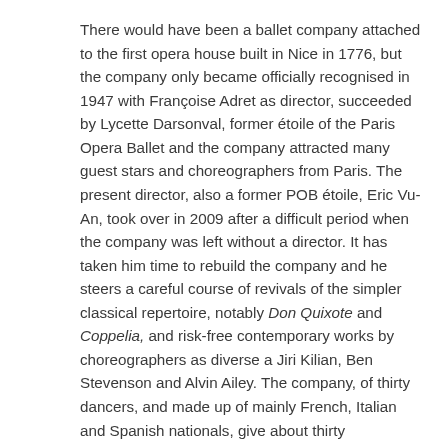There would have been a ballet company attached to the first opera house built in Nice in 1776, but the company only became officially recognised in 1947 with Françoise Adret as director, succeeded by Lycette Darsonval, former étoile of the Paris Opera Ballet and the company attracted many guest stars and choreographers from Paris. The present director, also a former POB étoile, Eric Vu-An, took over in 2009 after a difficult period when the company was left without a director. It has taken him time to rebuild the company and he steers a careful course of revivals of the simpler classical repertoire, notably Don Quixote and Coppelia, and risk-free contemporary works by choreographers as diverse a Jiri Kilian, Ben Stevenson and Alvin Ailey. The company, of thirty dancers, and made up of mainly French, Italian and Spanish nationals, give about thirty performances annually in Nice and this year have also appeared in China and at the Havana Dance Festival.